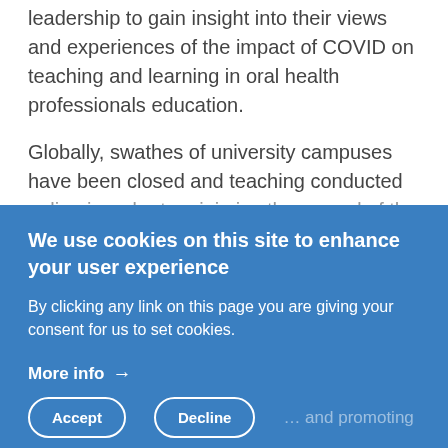leadership to gain insight into their views and experiences of the impact of COVID on teaching and learning in oral health professionals education.
Globally, swathes of university campuses have been closed and teaching conducted online in order to minimise the spread of the
We use cookies on this site to enhance your user experience
By clicking any link on this page you are giving your consent for us to set cookies.
More info →